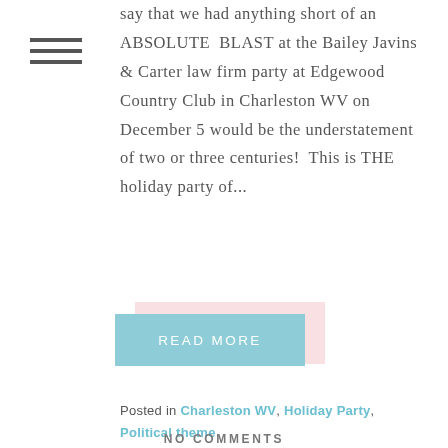[Figure (other): Hamburger menu icon with three horizontal lines]
say that we had anything short of an ABSOLUTE BLAST at the Bailey Javins & Carter law firm party at Edgewood Country Club in Charleston WV on December 5 would be the understatement of two or three centuries! This is THE holiday party of...
READ MORE
Posted in Charleston WV, Holiday Party, Political theme
NO COMMENTS